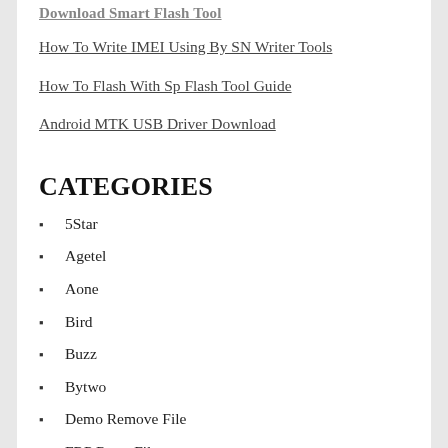Download Smart Flash Tool
How To Write IMEI Using By SN Writer Tools
How To Flash With Sp Flash Tool Guide
Android MTK USB Driver Download
CATEGORIES
5Star
Agetel
Aone
Bird
Buzz
Bytwo
Demo Remove File
FRP Reset File
Gphone